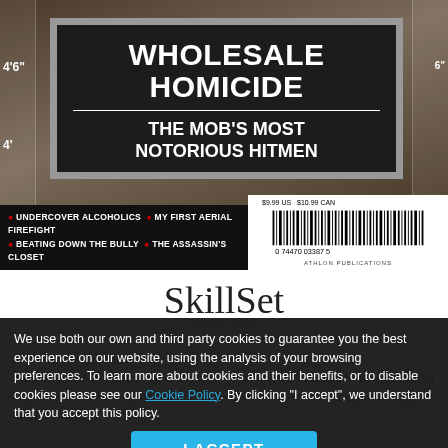[Figure (photo): Magazine cover of SkillSet magazine showing a person in brown jacket holding a black letter board that reads 'WHOLESALE HOMICIDE – THE MOB'S MOST NOTORIOUS HITMEN'. Height ruler marks visible on sides. Bottom bar shows article titles: UNDERCOVER ALCOHOLICS, MY FIRST AERIAL FIREFIGHT, BEATING DOWN THE BULLY, THE ASSASSIN'S CLOSET. Barcode and price in bottom right corner.]
SkillSet
Winter 2016
We use both our own and third party cookies to guarantee you the best experience on our website, using the analysis of your browsing preferences. To learn more about cookies and their benefits, or to disable cookies please see our Cookie Policy. By clicking "I accept", we understand that you accept this policy.
I ACCEPT
Skillset is redefining the alpha lifestyle. Providing an uncensored perspective on topics from politics, sports, family, fitness, and any and everything affecting our culture today.